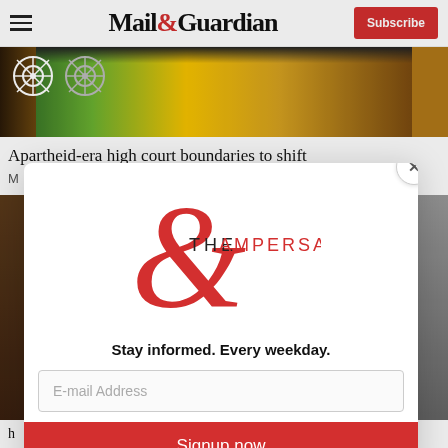Mail & Guardian — Subscribe
[Figure (photo): Partial photo of a person wearing ANC colors (yellow, green, black) with ANC logo and flag visible]
Apartheid-era high court boundaries to shift
M...
[Figure (illustration): The Ampersand newsletter modal popup with large red ampersand logo, text 'THE AMPERSAND', tagline 'Stay informed. Every weekday.', email input field, and red 'Signup now' button]
M... h...